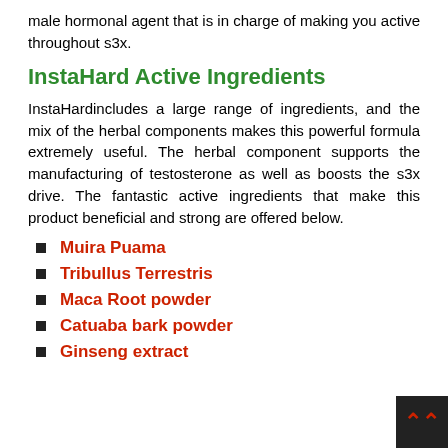male hormonal agent that is in charge of making you active throughout s3x.
InstaHard Active Ingredients
InstaHardincludes a large range of ingredients, and the mix of the herbal components makes this powerful formula extremely useful. The herbal component supports the manufacturing of testosterone as well as boosts the s3x drive. The fantastic active ingredients that make this product beneficial and strong are offered below.
Muira Puama
Tribullus Terrestris
Maca Root powder
Catuaba bark powder
Ginseng extract